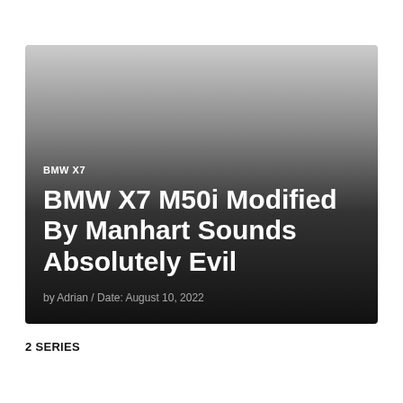[Figure (photo): Dark gradient background card with article headline overlay for BMW X7 article]
BMW X7
BMW X7 M50i Modified By Manhart Sounds Absolutely Evil
by Adrian / Date: August 10, 2022
2 SERIES